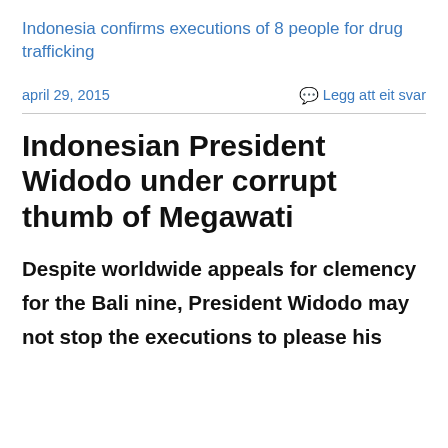Indonesia confirms executions of 8 people for drug trafficking
april 29, 2015
Legg att eit svar
Indonesian President Widodo under corrupt thumb of Megawati
Despite worldwide appeals for clemency for the Bali nine, President Widodo may not stop the executions to please his